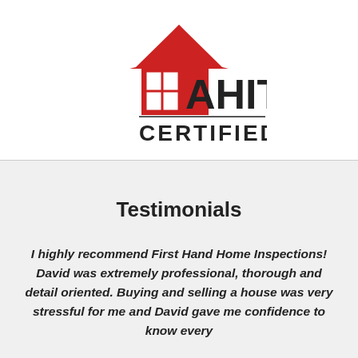[Figure (logo): AHIT Certified logo — red house outline with a window graphic on the left, bold dark text 'AHIT' to the right, with a horizontal line underneath and 'CERTIFIED' in bold dark capitals below]
Testimonials
I highly recommend First Hand Home Inspections! David was extremely professional, thorough and detail oriented. Buying and selling a house was very stressful for me and David gave me confidence to know every